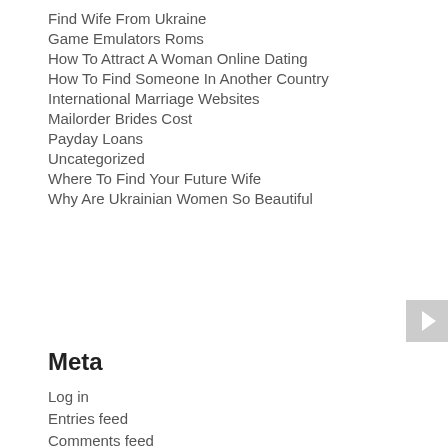Find Wife From Ukraine
Game Emulators Roms
How To Attract A Woman Online Dating
How To Find Someone In Another Country
International Marriage Websites
Mailorder Brides Cost
Payday Loans
Uncategorized
Where To Find Your Future Wife
Why Are Ukrainian Women So Beautiful
Meta
Log in
Entries feed
Comments feed